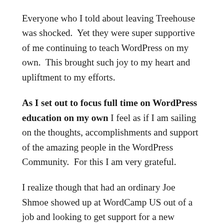Everyone who I told about leaving Treehouse was shocked.  Yet they were super supportive of me continuing to teach WordPress on my own.  This brought such joy to my heart and upliftment to my efforts.
As I set out to focus full time on WordPress education on my own I feel as if I am sailing on the thoughts, accomplishments and support of the amazing people in the WordPress Community.  For this I am very grateful.
I realize though that had an ordinary Joe Shmoe showed up at WordCamp US out of a job and looking to get support for a new venture they might walk away deflated and not like they have a lot of support.